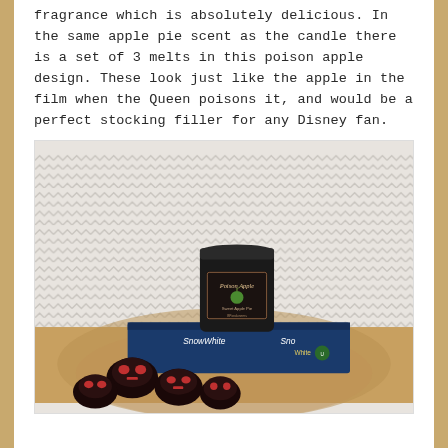fragrance which is absolutely delicious. In the same apple pie scent as the candle there is a set of 3 melts in this poison apple design. These look just like the apple in the film when the Queen poisons it, and would be a perfect stocking filler for any Disney fan.
[Figure (photo): A black candle jar labeled 'Poison Apple' with 'Sweet Apple Pie' scent sitting on top of a Snow White book/box. In the foreground are several dark red/black apple-shaped wax melts. Background is a chevron/herringbone patterned fabric.]